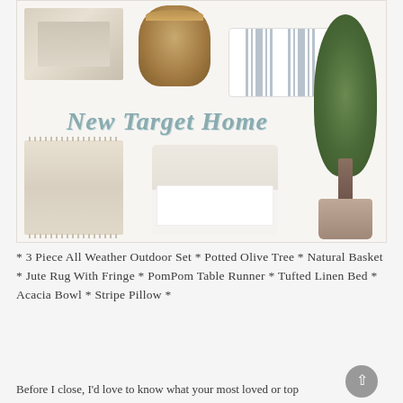[Figure (photo): Collage of Target home products including a table runner, woven natural basket, striped pillow, jute rug with fringe, tufted linen bed, potted olive tree, with 'New Target Home' text overlay in teal/sage italic font.]
* 3 Piece All Weather Outdoor Set * Potted Olive Tree * Natural Basket * Jute Rug With Fringe * PomPom Table Runner * Tufted Linen Bed * Acacia Bowl * Stripe Pillow *
Before I close, I'd love to know what your most loved or top